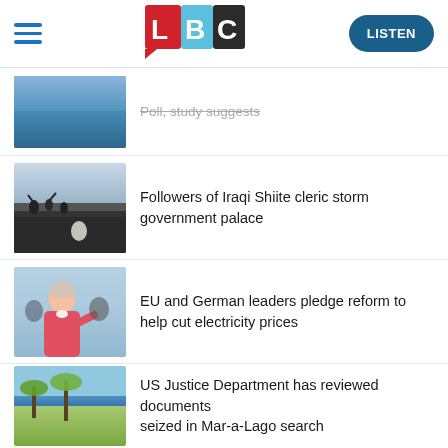LBC | LISTEN
[Figure (screenshot): Partially visible news item with truncated headline about a poll/study]
Followers of Iraqi Shiite cleric storm government palace
EU and German leaders pledge reform to help cut electricity prices
US Justice Department has reviewed documents seized in Mar-a-Lago search